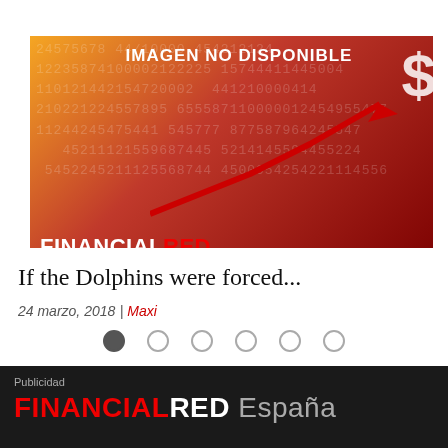[Figure (illustration): Financial Red branded image with numbers/data background in red and orange gradient, upward red arrow, dollar sign, and text 'IMAGEN NO DISPONIBLE' at top. FINANCIALRED logo at bottom left.]
If the Dolphins were forced...
24 marzo, 2018 | Maxi
[Figure (other): Carousel navigation dots — 6 circles, first one filled/active]
Publicidad
FINANCIALRED España